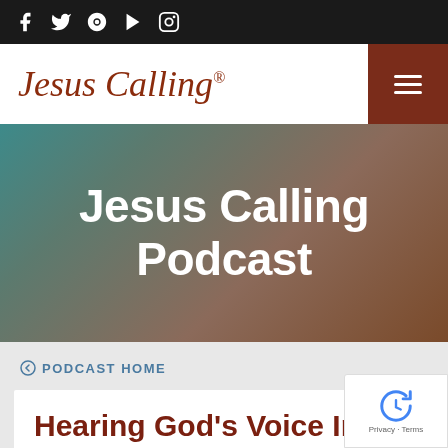Social media icons: Facebook, Twitter, Pinterest, YouTube, Instagram
Jesus Calling®
[Figure (logo): Jesus Calling logo in dark red serif italic font with registered trademark symbol]
Jesus Calling Podcast
⊙ PODCAST HOME
Hearing God's Voice In Unlikely Places: Aaron Watson &